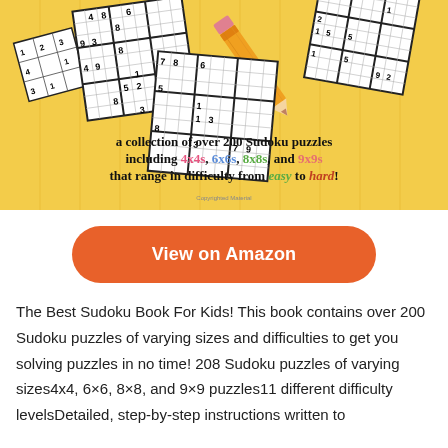[Figure (illustration): Book cover image showing multiple Sudoku puzzle grids scattered on a yellow background with a pencil, and text describing the book contents including 4x4s, 6x6s, 8x8s, and 9x9s puzzles ranging from easy to hard.]
View on Amazon
The Best Sudoku Book For Kids! This book contains over 200 Sudoku puzzles of varying sizes and difficulties to get you solving puzzles in no time! 208 Sudoku puzzles of varying sizes4x4, 6×6, 8×8, and 9×9 puzzles11 different difficulty levelsDetailed, step-by-step instructions written to